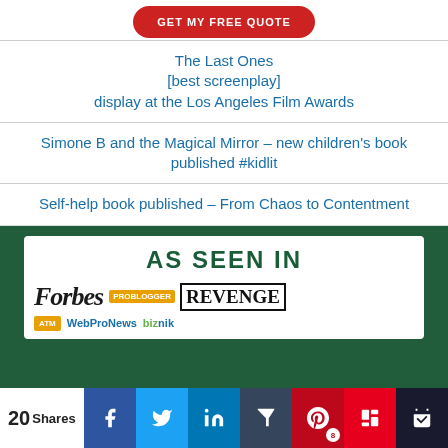GET MY FREE QUOTE
The Last Ones [best screenplay] display at the Los Angeles Film Awards
Simone B and the Magical Mirror – new children's book published #kidlit
Self-help book published – From Chaos to Contentment
AS SEEN IN
[Figure (logo): Media logos: Forbes, ProBlogger, RE:VERSE, and other publications]
20 Shares